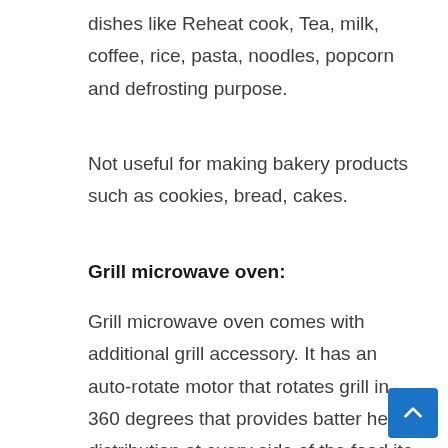dishes like Reheat cook, Tea, milk, coffee, rice, pasta, noodles, popcorn and defrosting purpose.
Not useful for making bakery products such as cookies, bread, cakes.
Grill microwave oven:
Grill microwave oven comes with additional grill accessory. It has an auto-rotate motor that rotates grill in 360 degrees that provides batter heat distribution at every side of the food ite…